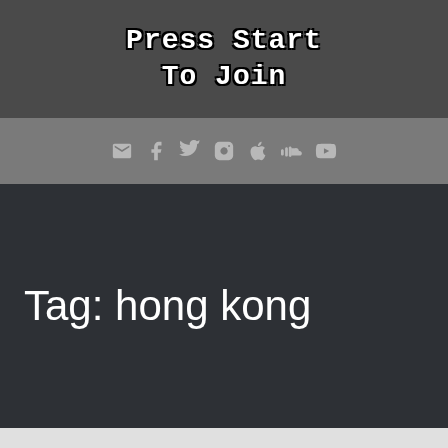Press Start To Join
[Figure (other): Navigation icon bar with email, Facebook, Twitter, Instagram, Apple, SoundCloud, and YouTube icons]
Tag: hong kong